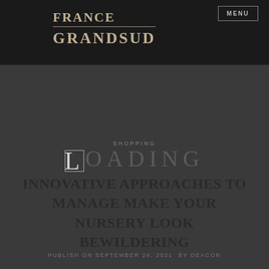FRANCE GRANDSUD
MENU
SHOPPING
LOADING
INNOVATIVE APPROACHES TO MANAGE MAKE YOUR NURSERY LOOK BEWILDERING
PUBLISH ON SEPTEMBER 24, 2021  BY DEACON